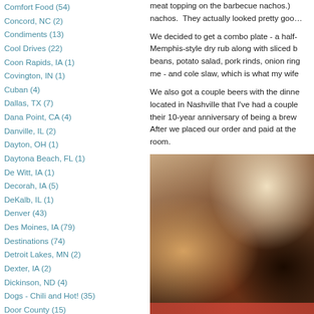Comfort Food (54)
Concord, NC (2)
Condiments (13)
Cool Drives (22)
Coon Rapids, IA (1)
Covington, IN (1)
Cuban (4)
Dallas, TX (7)
Dana Point, CA (4)
Danville, IL (2)
Dayton, OH (1)
Daytona Beach, FL (1)
De Witt, IA (1)
Decorah, IA (5)
DeKalb, IL (1)
Denver (43)
Des Moines, IA (79)
Destinations (74)
Detroit Lakes, MN (2)
Dexter, IA (2)
Dickinson, ND (4)
Dogs - Chili and Hot! (35)
Door County (15)
Dubuque, IA (6)
East Dubuque, IL (4)
Eau Claire, WI (3)
Edgewood, IA (1)
meat topping on the barbecue nachos.)  nachos.  They actually looked pretty goo...
We decided to get a combo plate - a half- Memphis-style dry rub along with sliced b beans, potato salad, pork rinds, onion rin me - and cole slaw, which is what my wife
We also got a couple beers with the dinne located in Nashville that I've had a couple their 10-year anniversary of being a brew  After we placed our order and paid at the room.
[Figure (photo): Photo of a barbecue combo plate showing pulled pork, brisket, and other items on a red tray with white paper liner and a biscuit/roll]
places.  The pulled pork was moist and a enough with some sauce added.  Out of t brisket was an even closer third.
The baked beans featured chunks of pulle